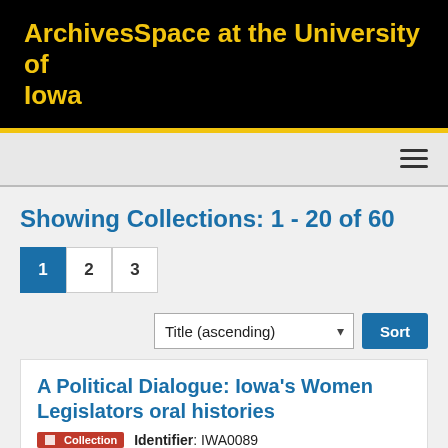ArchivesSpace at the University of Iowa
Showing Collections: 1 - 20 of 60
Pagination: 1 2 3
Title (ascending) Sort
A Political Dialogue: Iowa's Women Legislators oral histories
Collection   Identifier: IWA0089
Abstract